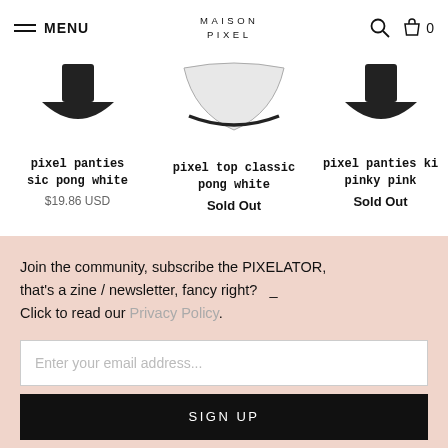MENU | MAISON PIXEL | search | cart 0
pixel panties classic pong white
$19.86 USD
pixel top classic pong white
Sold Out
pixel panties ki pinky pink
Sold Out
Join the community, subscribe the PIXELATOR, that's a zine / newsletter, fancy right? _
Click to read our Privacy Policy.
Enter your email address...
SIGN UP